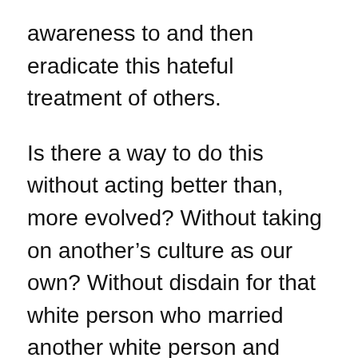awareness to and then eradicate this hateful treatment of others.
Is there a way to do this without acting better than, more evolved? Without taking on another’s culture as our own? Without disdain for that white person who married another white person and maybe even gave birth to white kids; a person who fell in love with another’s soul, not their skin color?
Currently in my family – my children, their partners, their roommates – two white boys, a blond-haired blue eyed Mormon gal, an African-American girl, and three Mexicans,